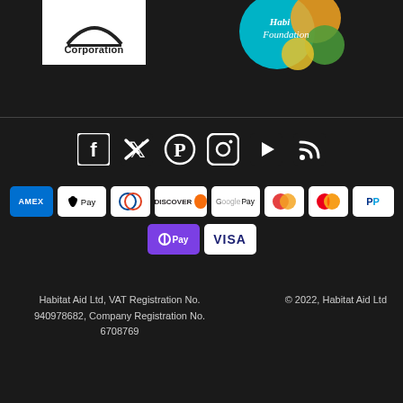[Figure (logo): Corporation logo with arc and line on white background]
[Figure (logo): Colourful Foundation logo with teal circle and colorful dots on dark background]
[Figure (infographic): Row of social media icons: Facebook, Twitter, Pinterest, Instagram, YouTube, RSS on dark background]
[Figure (infographic): Payment method badges: American Express, Apple Pay, Diners Club, Discover, Google Pay, Maestro, Mastercard, PayPal, O Pay, Visa]
Habitat Aid Ltd, VAT Registration No. 940978682, Company Registration No. 6708769
© 2022, Habitat Aid Ltd